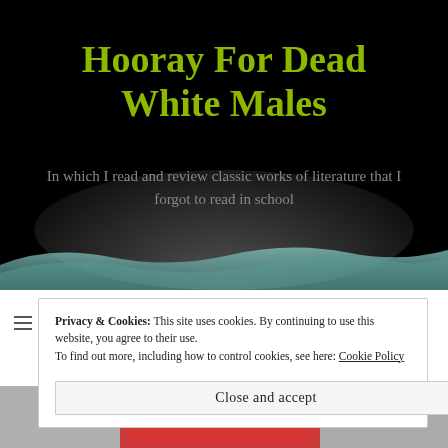Hooray For Dead White Males
In which I read and review classic works of literature that I forgot to read in school
Privacy & Cookies: This site uses cookies. By continuing to use this website, you agree to their use.
To find out more, including how to control cookies, see here: Cookie Policy
Close and accept
[Figure (photo): Partial view of a book cover with red design elements at the bottom of the page]